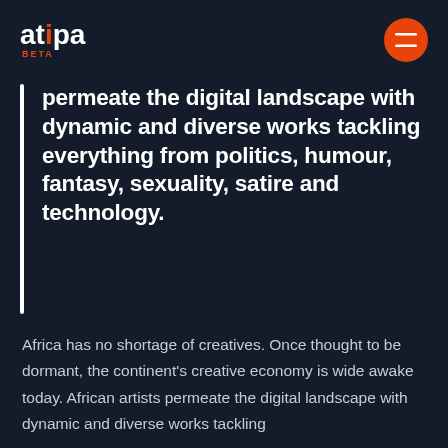[Figure (logo): Atipa Beta logo in white and orange text]
[Figure (other): Orange circular hamburger menu button with two horizontal white lines]
permeate the digital landscape with dynamic and diverse works tackling everything from politics, humour, fantasy, sexuality, satire and technology.
Africa has no shortage of creatives. Once thought to be dormant, the continent's creative economy is wide awake today. African artists permeate the digital landscape with dynamic and diverse works tackling